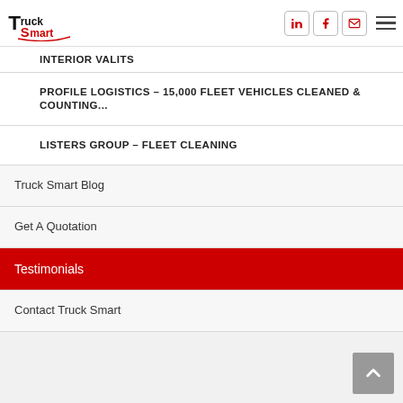Truck Smart — navigation header with logo and social icons
INTERIOR VALITS (partially visible)
PROFILE LOGISTICS – 15,000 FLEET VEHICLES CLEANED & COUNTING...
LISTERS GROUP – FLEET CLEANING
Truck Smart Blog
Get A Quotation
Testimonials
Contact Truck Smart